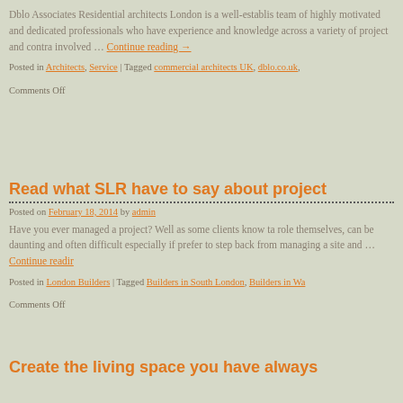Dblo Associates Residential architects London is a well-established team of highly motivated and dedicated professionals who have experience and knowledge across a variety of project and contract involved … Continue reading →
Posted in Architects, Service | Tagged commercial architects UK, dblo.co.uk, Comments Off
Read what SLR have to say about project
Posted on February 18, 2014 by admin
Have you ever managed a project? Well as some clients know taking role themselves, can be daunting and often difficult especially if prefer to step back from managing a site and … Continue reading
Posted in London Builders | Tagged Builders in South London, Builders in Wa Comments Off
Create the living space you have always